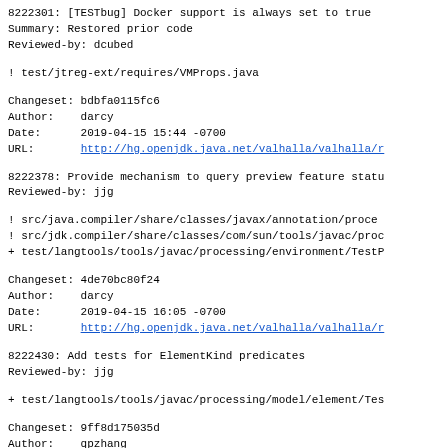8222301: [TESTbug] Docker support is always set to true
Summary: Restored prior code
Reviewed-by: dcubed
! test/jtreg-ext/requires/VMProps.java
Changeset: bdbfa0115fc6
Author:    darcy
Date:      2019-04-15 15:44 -0700
URL:       http://hg.openjdk.java.net/valhalla/valhalla/r
8222378: Provide mechanism to query preview feature statu
Reviewed-by: jjg
! src/java.compiler/share/classes/javax/annotation/proce
! src/jdk.compiler/share/classes/com/sun/tools/javac/proc
+ test/langtools/tools/javac/processing/environment/TestP
Changeset: 4de70bc80f24
Author:    darcy
Date:      2019-04-15 16:05 -0700
URL:       http://hg.openjdk.java.net/valhalla/valhalla/r
8222430: Add tests for ElementKind predicates
Reviewed-by: jjg
+ test/langtools/tools/javac/processing/model/element/Tes
Changeset: 9ff8d175035d
Author:    qpzhang
Date:      2019-04-09 18:46 +0800